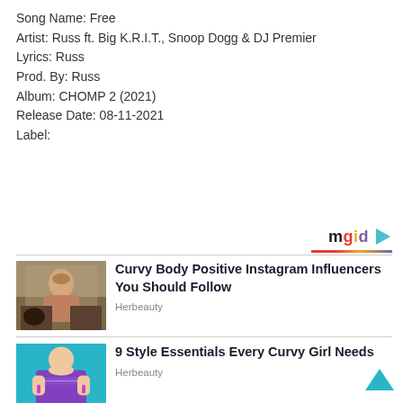Song Name: Free
Artist: Russ ft. Big K.R.I.T., Snoop Dogg & DJ Premier
Lyrics: Russ
Prod. By: Russ
Album: CHOMP 2 (2021)
Release Date: 08-11-2021
Label:
[Figure (logo): mgid logo with colored letters and play button icon, with colored underline]
[Figure (photo): Tattooed woman sitting on couch with baby, black dog visible]
Curvy Body Positive Instagram Influencers You Should Follow
Herbeauty
[Figure (photo): Woman in purple top with hands on chest against turquoise background]
9 Style Essentials Every Curvy Girl Needs
Herbeauty